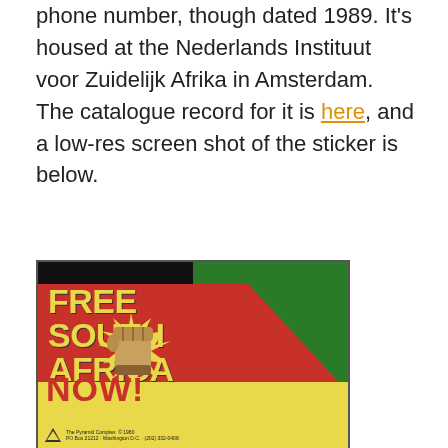phone number, though dated 1989. It's housed at the Nederlands Instituut voor Zuidelijk Afrika in Amsterdam.  The catalogue record for it is here, and a low-res screen shot of the sticker is below.
[Figure (photo): A 'Free South Africa Now!' bumper sticker or poster. Bold yellow text on red background reads 'FREE SOUTH AFRICA' with a raised fist graphic. 'NOW!' in red on yellow at the bottom. Black and green panels at top. Bottom reads 'The Pyramid Complex, PO Box 21212, Washington D.C., (202) 332-0408' with a copyright of 1980.]